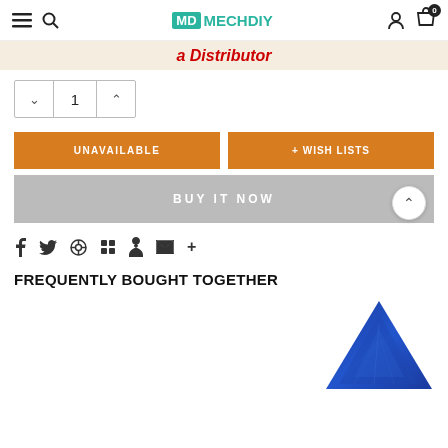MECHDIY
a Distributor
1
UNAVAILABLE
+ WISH LISTS
BUY IT NOW
f  t  p  grid  bookmark  heart  mail  +
FREQUENTLY BOUGHT TOGETHER
[Figure (photo): Blue triangular product image, partially visible at bottom right]